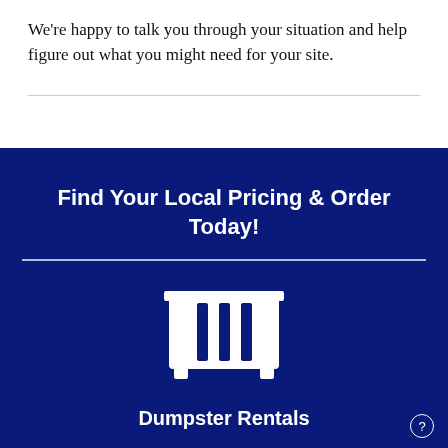We're happy to talk you through your situation and help figure out what you might need for your site.
Find Your Local Pricing & Order Today!
[Figure (illustration): White dumpster/trash container icon on dark blue background]
Dumpster Rentals